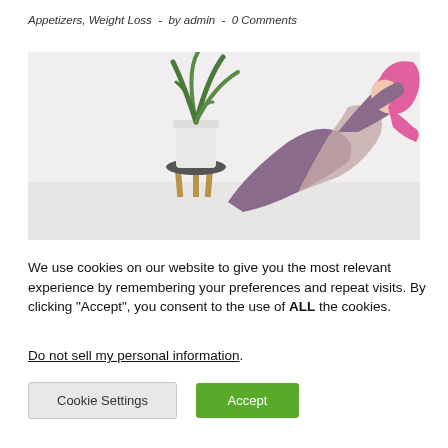Appetizers, Weight Loss  -  by admin  -  0 Comments
[Figure (photo): Woman with pink hair doing a yoga backbend pose on the floor, wearing purple athletic wear, with a potted aloe plant on a stool in the background]
We use cookies on our website to give you the most relevant experience by remembering your preferences and repeat visits. By clicking “Accept”, you consent to the use of ALL the cookies.
Do not sell my personal information.
Cookie Settings
Accept